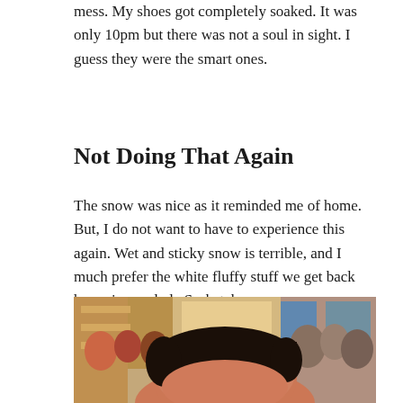mess. My shoes got completely soaked. It was only 10pm but there was not a soul in sight. I guess they were the smart ones.
Not Doing That Again
The snow was nice as it reminded me of home. But, I do not want to have to experience this again. Wet and sticky snow is terrible, and I much prefer the white fluffy stuff we get back home in good ole Saskatchewan.
[Figure (photo): Indoor photo of a crowded store or venue with shelves and displays visible in the background. In the foreground is the top of a person's head with dark hair, face partially visible.]